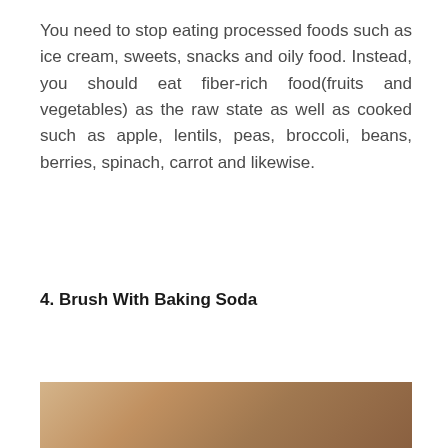You need to stop eating processed foods such as ice cream, sweets, snacks and oily food. Instead, you should eat fiber-rich food(fruits and vegetables) as the raw state as well as cooked such as apple, lentils, peas, broccoli, beans, berries, spinach, carrot and likewise.
4. Brush With Baking Soda
[Figure (photo): Partial photo showing a brown/tan surface, likely related to baking soda or a natural ingredient, cropped at the bottom of the page.]